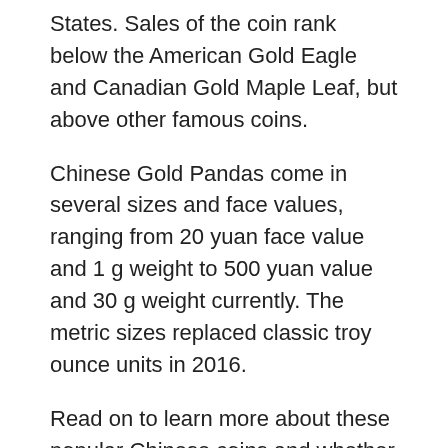States. Sales of the coin rank below the American Gold Eagle and Canadian Gold Maple Leaf, but above other famous coins.
Chinese Gold Pandas come in several sizes and face values, ranging from 20 yuan face value and 1 g weight to 500 yuan value and 30 g weight currently. The metric sizes replaced classic troy ounce units in 2016.
Read on to learn more about these popular Chinese coins and whether they're still a good investment.
The History of the Chinese Gold Panda
Golden Panda coins have been legal tender in their country of origin since their introduction. The coins are primarily made in mints located in Beijing, Shanghai,